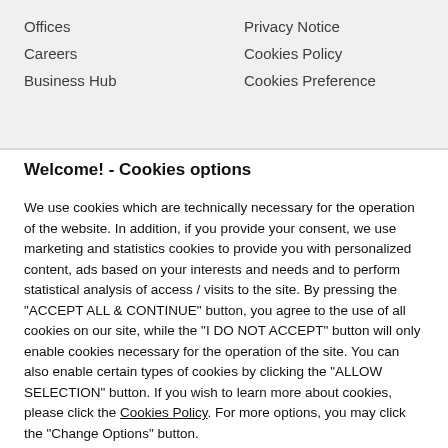Offices
Privacy Notice
Careers
Cookies Policy
Business Hub
Cookies Preference
Welcome! - Cookies options
We use cookies which are technically necessary for the operation of the website. In addition, if you provide your consent, we use marketing and statistics cookies to provide you with personalized content, ads based on your interests and needs and to perform statistical analysis of access / visits to the site. By pressing the "ACCEPT ALL & CONTINUE" button, you agree to the use of all cookies on our site, while the "I DO NOT ACCEPT" button will only enable cookies necessary for the operation of the site. You can also enable certain types of cookies by clicking the "ALLOW SELECTION" button. If you wish to learn more about cookies, please click the Cookies Policy. For more options, you may click the "Change Options" button.
-